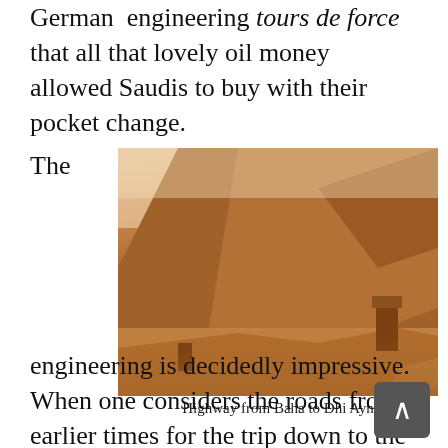Finally. The road is another of those German engineering tours de force that all that lovely oil money allowed Saudis to buy with their pocket change.
The
[Figure (photo): Photograph of a mountainside highway from Baha to Dhi Ayn, showing steep rocky terrain with ancient structures visible on the slope]
Highway from Baha to Dhi Ayn
engineering is decidedly impressive. When one considers the roads from earlier times for the trip down to the